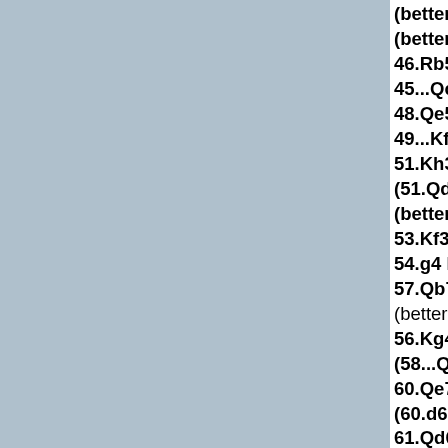(better 41...Qf3 42.Qb (better 43...Qa7+/-) 44 46.Rb5+-) 45.Rb3 (45 45...Qc5 (45...Qb2 46. 48.Qe5 Kg8 49.Qb2 (4 49...Kf8 (49...Qd6 50.0 51.Kh3 Qa5+-) 50...Qe (51.Qd4 Ke8+-) 51...K (better 52.Qd4 Kg8+- 53.Kf3 (better 53.Qa7 54.g4 Kf7 55.e5+-) 54 57.Qb7 Kg8+-) 54...h5 (better 55.e5 Qd5 56. 56.Kg4 Qd7 (56...h5 5 (58...Qd6 59.Qh7 Kf8 60.Qe7+-) 59...Qe7 (5 (60.d6 Qg7 61.Kf3 Qb 61.Qd6 (better 61.e5 Kf8+-) 62.Kg4 (62.Qa 66.Qf6 Kh5 67.Qf3) 6 63.Qd8+- Kg7 64.Qe7 68.Qe6 (68.Qe6 h5 690 Qc3 73.Kf2 Qd2 74.Kg 78.Kh3 Qf1 79.Kh2 Qf Qf2=) 1-0. Bendega (2